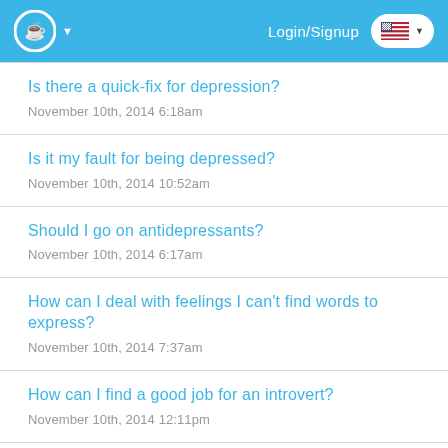Login/Signup
Is there a quick-fix for depression?
November 10th, 2014 6:18am
Is it my fault for being depressed?
November 10th, 2014 10:52am
Should I go on antidepressants?
November 10th, 2014 6:17am
How can I deal with feelings I can't find words to express?
November 10th, 2014 7:37am
How can I find a good job for an introvert?
November 10th, 2014 12:11pm
How can I deal with being blamed for things